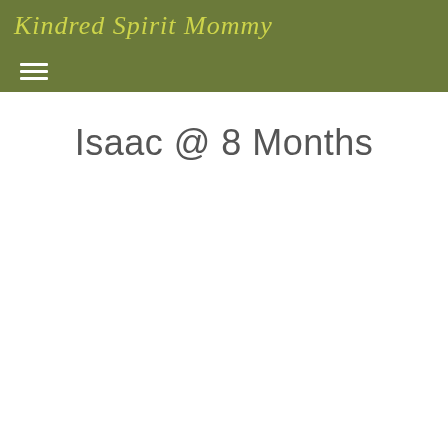Kindred Spirit Mommy
Isaac @ 8 Months